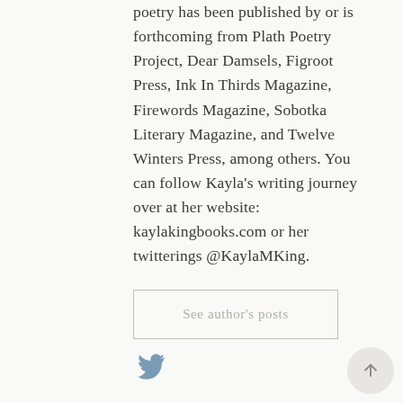poetry has been published by or is forthcoming from Plath Poetry Project, Dear Damsels, Figroot Press, Ink In Thirds Magazine, Firewords Magazine, Sobotka Literary Magazine, and Twelve Winters Press, among others. You can follow Kayla's writing journey over at her website: kaylakingbooks.com or her twitterings @KaylaMKing.
See author's posts
[Figure (illustration): Twitter bird icon in muted blue]